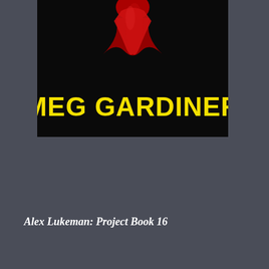[Figure (illustration): Book cover image showing black background with a red shape/figure at top and author name MEG GARDINER in bold yellow text]
Alex Lukeman: Project Book 16